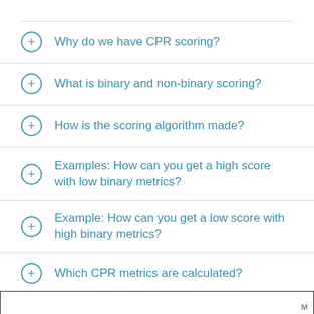Why do we have CPR scoring?
What is binary and non-binary scoring?
How is the scoring algorithm made?
Examples: How can you get a high score with low binary metrics?
Example: How can you get a low score with high binary metrics?
Which CPR metrics are calculated?